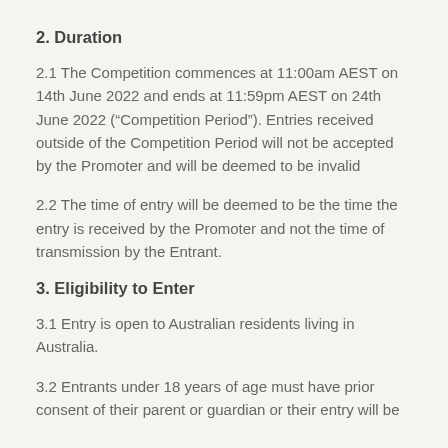2. Duration
2.1 The Competition commences at 11:00am AEST on 14th June 2022 and ends at 11:59pm AEST on 24th June 2022 (“Competition Period”). Entries received outside of the Competition Period will not be accepted by the Promoter and will be deemed to be invalid
2.2 The time of entry will be deemed to be the time the entry is received by the Promoter and not the time of transmission by the Entrant.
3. Eligibility to Enter
3.1 Entry is open to Australian residents living in Australia.
3.2 Entrants under 18 years of age must have prior consent of their parent or guardian or their entry will be